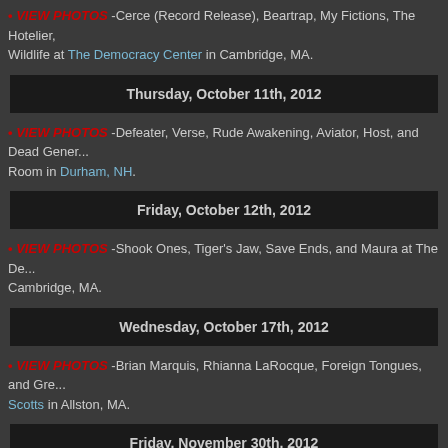• VIEW PHOTOS -Cerce (Record Release), Beartrap, My Fictions, The Hotelier, Wildlife at The Democracy Center in Cambridge, MA.
Thursday, October 11th, 2012
• VIEW PHOTOS -Defeater, Verse, Rude Awakening, Aviator, Host, and Dead Generation at the Stone Church Music Room in Durham, NH.
Friday, October 12th, 2012
• VIEW PHOTOS -Shook Ones, Tiger's Jaw, Save Ends, and Maura at The Democracy Center in Cambridge, MA.
Wednesday, October 17th, 2012
• VIEW PHOTOS -Brian Marquis, Rhianna LaRocque, Foreign Tongues, and Great Scotts in Allston, MA.
Friday, November 30th, 2012
• VIEW PHOTOS TRIPLE B SHOWCASE -Bane, Ceremony, Rude Awakening, Dead...